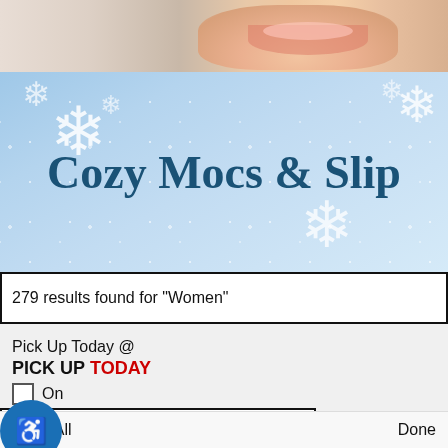[Figure (photo): Top portion of a person's face/smile, cropped]
[Figure (illustration): Winter promotional banner with light blue snowy background, snowflakes, and the text 'Cozy Mocs & Slip']
279 results found for "Women"
Pick Up Today @
PICK UP TODAY
On
Sort By Popularity
cted Filters:
ar All
Clear All
Done